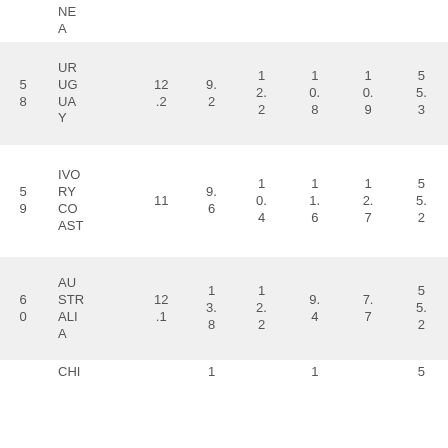|  | NE
A |  |  |  |  |  |  |
| 5
8 | UR
UG
UA
Y | 12
.2 | 9.
2 | 1
2.
2 | 1
0.
8 | 1
0.
9 | 5
5.
3 |
| 5
9 | IVO
RY
CO
AST | 11 | 9.
6 | 1
0.
4 | 1
1.
6 | 1
2.
7 | 5
5.
2 |
| 6
0 | AU
STR
ALI
A | 12
.1 | 1
3.
8 | 1
2.
2 | 9.
4 | 7.
7 | 5
5.
2 |
|  | CH... |  | 1 |  | 1 |  | 5 |